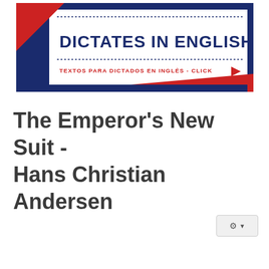[Figure (screenshot): Banner image for 'Dictates in English' website. Dark navy blue background with white center panel. Dotted lines above and below title. Title reads 'DICTATES IN ENGLISH' in bold navy. Subtitle reads 'TEXTOS PARA DICTADOS EN INGLÉS - CLICK' with a red arrow. Red triangle decorations in top-left and bottom-right corners.]
The Emperor's New Suit - Hans Christian Andersen